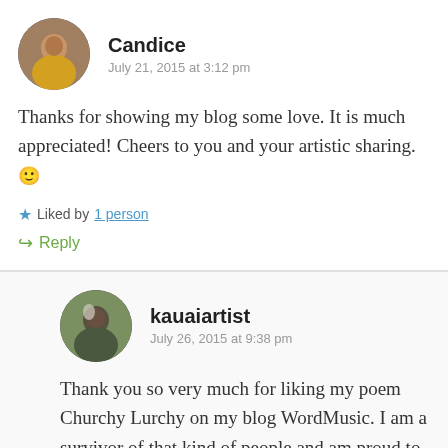[Figure (photo): Round avatar photo of Candice, a woman smiling, wearing a yellow top]
Candice
July 21, 2015 at 3:12 pm
Thanks for showing my blog some love. It is much appreciated! Cheers to you and your artistic sharing. 🙂
★ Liked by 1 person
↪ Reply
[Figure (photo): Round avatar photo of kauaiartist, a person outdoors with greenery]
kauaiartist
July 26, 2015 at 9:38 pm
Thank you so very much for liking my poem Churchy Lurchy on my blog WordMusic. I am a survivor of that kind of people and am proud to say it.